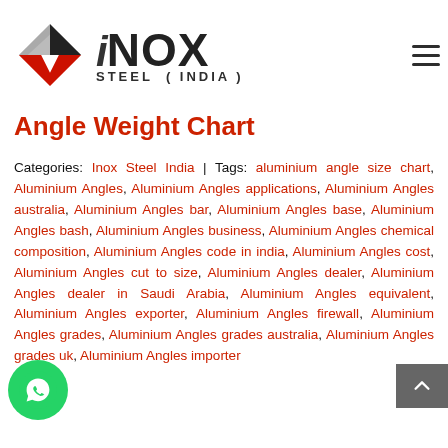[Figure (logo): iNOX Steel (India) company logo with diamond/chevron graphic mark in black, grey and red, and bold text 'iNOX' with 'STEEL ( INDIA )' below]
Angle Weight Chart
Categories: Inox Steel India | Tags: aluminium angle size chart, Aluminium Angles, Aluminium Angles applications, Aluminium Angles australia, Aluminium Angles bar, Aluminium Angles base, Aluminium Angles bash, Aluminium Angles business, Aluminium Angles chemical composition, Aluminium Angles code in india, Aluminium Angles cost, Aluminium Angles cut to size, Aluminium Angles dealer, Aluminium Angles dealer in Saudi Arabia, Aluminium Angles equivalent, Aluminium Angles exporter, Aluminium Angles firewall, Aluminium Angles grades, Aluminium Angles grades australia, Aluminium Angles grades uk, Aluminium Angles importer